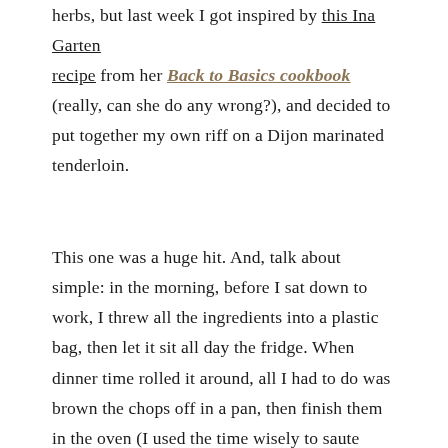herbs, but last week I got inspired by this Ina Garten recipe from her Back to Basics cookbook (really, can she do any wrong?), and decided to put together my own riff on a Dijon marinated tenderloin.

This one was a huge hit. And, talk about simple: in the morning, before I sat down to work, I threw all the ingredients into a plastic bag, then let it sit all day the fridge. When dinner time rolled it around, all I had to do was brown the chops off in a pan, then finish them in the oven (I used the time wisely to saute some greens for a side dish and pour myself a glass of wine). Presto! Dinner was ready in under 30 minutes. As Ina would say, how easy is that?

Get the recipe, after the jump!